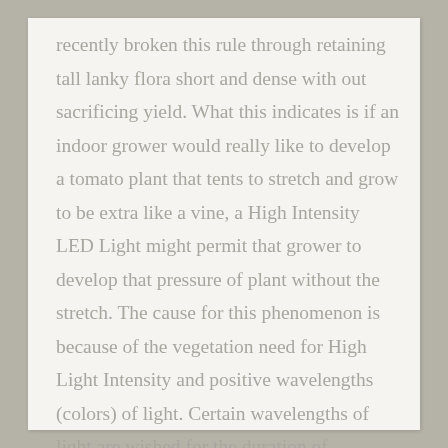recently broken this rule through retaining tall lanky flora short and dense with out sacrificing yield. What this indicates is if an indoor grower would really like to develop a tomato plant that tents to stretch and grow to be extra like a vine, a High Intensity LED Light might permit that grower to develop that pressure of plant without the stretch. The cause for this phenomenon is because of the vegetation need for High Light Intensity and positive wavelengths (colors) of light. Certain wavelengths of light are wished for the duration of vegetative increase cycles and positive lines want greater of these shades than others. If then you definately give those tall lines better doses of those wavelengths they may not want to stretch and